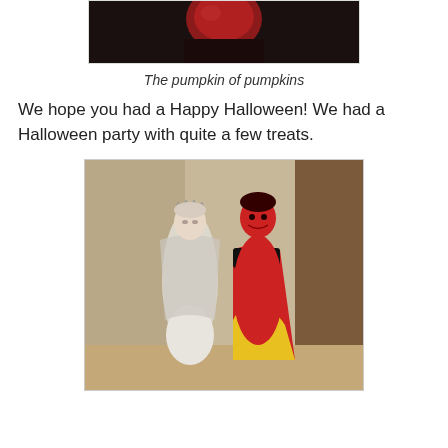[Figure (photo): Top portion of a photo showing a person in Halloween costume with red face/head against dark background]
The pumpkin of pumpkins
We hope you had a Happy Halloween! We had a Halloween party with quite a few treats.
[Figure (photo): Two people in Halloween costumes: a woman in a white dress with silver crown (Ice Queen) and a man in a red devil costume with red face paint and red/yellow cape, standing in a hallway]